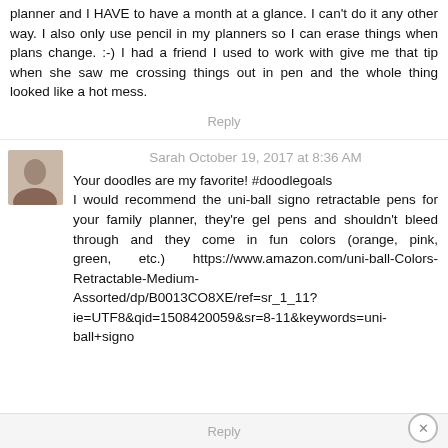planner and I HAVE to have a month at a glance. I can't do it any other way. I also only use pencil in my planners so I can erase things when plans change. :-) I had a friend I used to work with give me that tip when she saw me crossing things out in pen and the whole thing looked like a hot mess.
Reply
Sarah  October 19, 2017 at 8:36 AM
Your doodles are my favorite! #doodlegoals
I would recommend the uni-ball signo retractable pens for your family planner, they're gel pens and shouldn't bleed through and they come in fun colors (orange, pink, green, etc.)  https://www.amazon.com/uni-ball-Colors-Retractable-Medium-Assorted/dp/B0013CO8XE/ref=sr_1_11?ie=UTF8&qid=1508420059&sr=8-11&keywords=uni-ball+signo
Reply